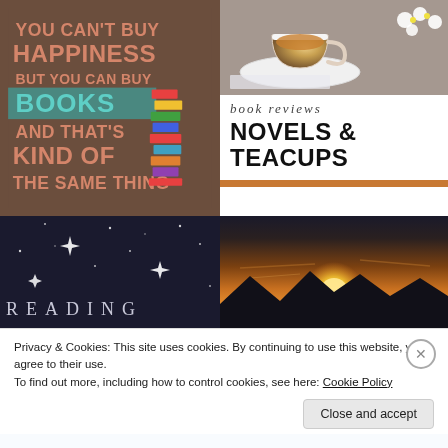[Figure (illustration): Motivational quote poster with dark brown background and salmon/peach colored text reading: YOU CAN'T BUY HAPPINESS BUT YOU CAN BUY BOOKS AND THAT'S KIND OF THE SAME THING, with a teal ribbon behind BOOKS and a stack of colorful books on the right side]
[Figure (photo): Overhead photo of a white teacup with tea, white daisy flowers, and an open book on a grey background]
book reviews
NOVELS & TEACUPS
[Figure (photo): Dark night sky with white sparkle stars and the word READING in silver/grey serif letters at the bottom]
[Figure (photo): Sunset landscape photo with orange and golden sky, sun setting behind mountain silhouettes]
Privacy & Cookies: This site uses cookies. By continuing to use this website, you agree to their use.
To find out more, including how to control cookies, see here: Cookie Policy